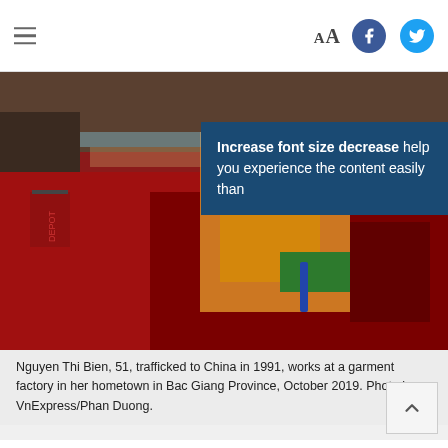Aa [font size controls] [Facebook] [Twitter]
[Figure (photo): Worker at a garment factory handling red fabric/bags on a production line. A blue tooltip overlay reads: 'Increase font size decrease help you experience the content easily than']
Nguyen Thi Bien, 51, trafficked to China in 1991, works at a garment factory in her hometown in Bac Giang Province, October 2019. Photo by VnExpress/Phan Duong.
She returned to Vietnam in August after Chinese authorities raided and deported undocumented immigrants. More about how she returned later.
Cut to the present. In a countryside garment factory